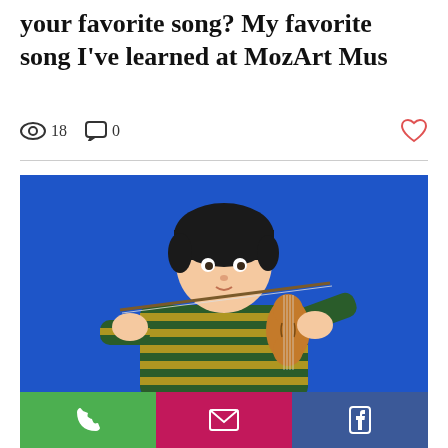your favorite song? My favorite song I've learned at MozArt Mus
18  0
[Figure (photo): Young boy playing violin against a bright blue background, wearing a striped green and yellow long-sleeve shirt]
Phone | Email | Facebook buttons